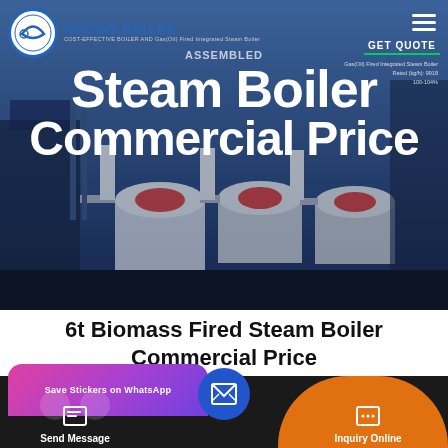[Figure (photo): Hero banner showing industrial steam boilers in a blue-toned industrial setting with 'Assembled Steam Boiler Commercial Price' text overlay and ROCBO BOILER logo]
6t Biomass Fired Steam Boiler Commercial Price
[Figure (screenshot): Bottom navigation bar with WhatsApp sticker card (pink/purple gradient), Send Message button with document icon, central blue circular email button, and Inquiry Online button on orange arc background]